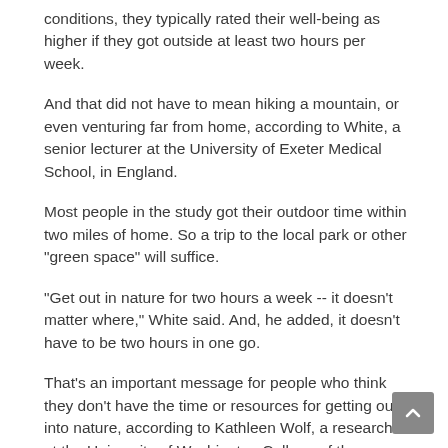conditions, they typically rated their well-being as higher if they got outside at least two hours per week.
And that did not have to mean hiking a mountain, or even venturing far from home, according to White, a senior lecturer at the University of Exeter Medical School, in England.
Most people in the study got their outdoor time within two miles of home. So a trip to the local park or other "green space" will suffice.
"Get out in nature for two hours a week -- it doesn't matter where," White said. And, he added, it doesn't have to be two hours in one go.
That's an important message for people who think they don't have the time or resources for getting out into nature, according to Kathleen Wolf, a researcher at the University of Washington College of the Environment, in Seattle.